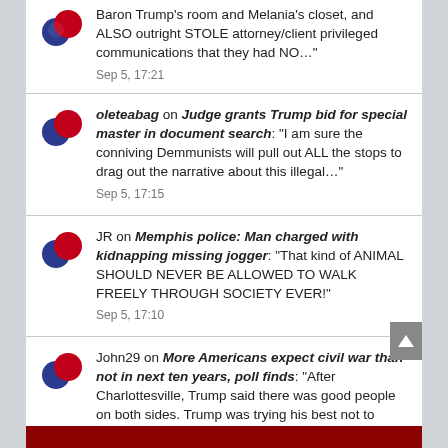Baron Trump's room and Melania's closet, and ALSO outright STOLE attorney/client privileged communications that they had NO…" Sep 5, 17:21
oleteabag on Judge grants Trump bid for special master in document search: "I am sure the conniving Demmunists will pull out ALL the stops to drag out the narrative about this illegal…" Sep 5, 17:15
JR on Memphis police: Man charged with kidnapping missing jogger: "That kind of ANIMAL SHOULD NEVER BE ALLOWED TO WALK FREELY THROUGH SOCIETY EVER!" Sep 5, 17:10
John29 on More Americans expect civil war than not in next ten years, poll finds: "After Charlottesville, Trump said there was good people on both sides. Trump was trying his best not to divide the…" Sep 5, 16:32